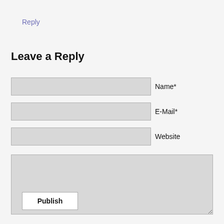Reply
Leave a Reply
Name*
E-Mail*
Website
Publish